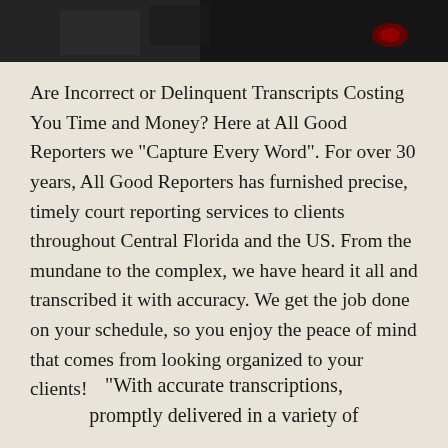[Figure (photo): Dark photograph strip at the top of the page, partially cropped image]
Are Incorrect or Delinquent Transcripts Costing You Time and Money? Here at All Good Reporters we "Capture Every Word". For over 30 years, All Good Reporters has furnished precise, timely court reporting services to clients throughout Central Florida and the US. From the mundane to the complex, we have heard it all and transcribed it with accuracy. We get the job done on your schedule, so you enjoy the peace of mind that comes from looking organized to your clients!
"With accurate transcriptions, promptly delivered in a variety of